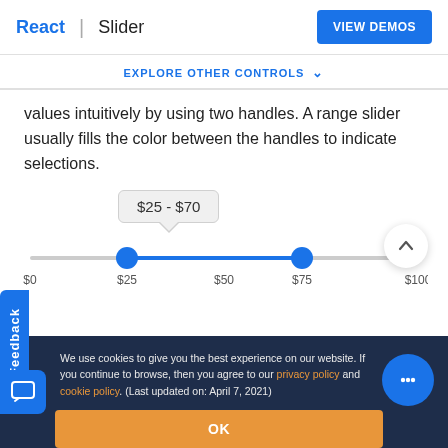React | Slider  VIEW DEMOS
EXPLORE OTHER CONTROLS ˅
values intuitively by using two handles. A range slider usually fills the color between the handles to indicate selections.
[Figure (other): Range slider UI component showing a tooltip with '$25 - $70', two blue circular handles on a track, and tick labels $0, $25, $50, $75, $100]
We use cookies to give you the best experience on our website. If you continue to browse, then you agree to our privacy policy and cookie policy. (Last updated on: April 7, 2021)
OK